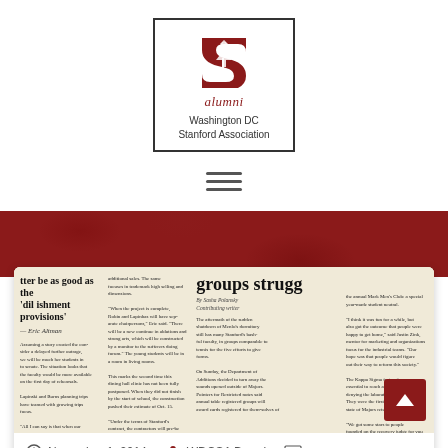[Figure (logo): Stanford Alumni logo with red S and tree, text 'alumni' in italic and 'Washington DC Stanford Association' below, enclosed in a black border box]
[Figure (other): Hamburger menu icon (three horizontal lines)]
[Figure (photo): Newspaper article image showing headlines including 'groups strug...' in large bold text, with multiple columns of body text in newsprint style]
November 1, 2014
WDCSA Board
Newsletter